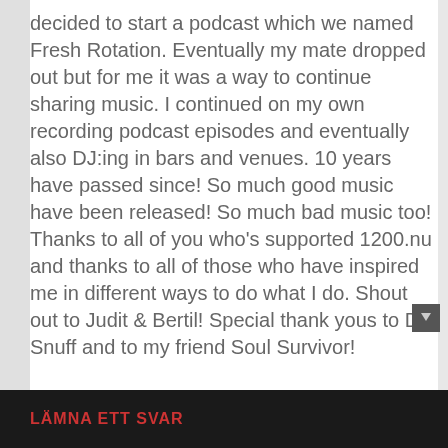decided to start a podcast which we named Fresh Rotation. Eventually my mate dropped out but for me it was a way to continue sharing music. I continued on my own recording podcast episodes and eventually also DJ:ing in bars and venues. 10 years have passed since! So much good music have been released! So much bad music too! Thanks to all of you who's supported 1200.nu and thanks to all of those who have inspired me in different ways to do what I do. Shout out to Judit & Bertil! Special thank yous to DJ Snuff and to my friend Soul Survivor!
LÄMNA ETT SVAR